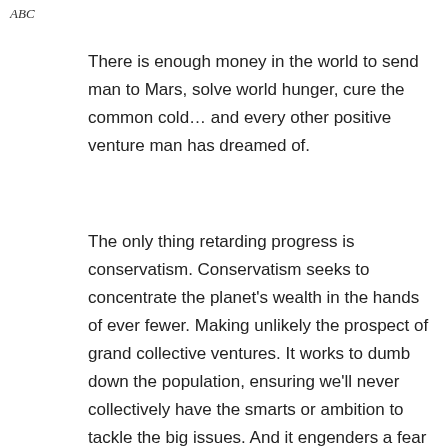ABC
There is enough money in the world to send man to Mars, solve world hunger, cure the common cold… and every other positive venture man has dreamed of.
The only thing retarding progress is conservatism. Conservatism seeks to concentrate the planet’s wealth in the hands of ever fewer. Making unlikely the prospect of grand collective ventures. It works to dumb down the population, ensuring we’ll never collectively have the smarts or ambition to tackle the big issues. And it engenders a fear of the future, a longing for the past that, again, makes it difficult to move forward.